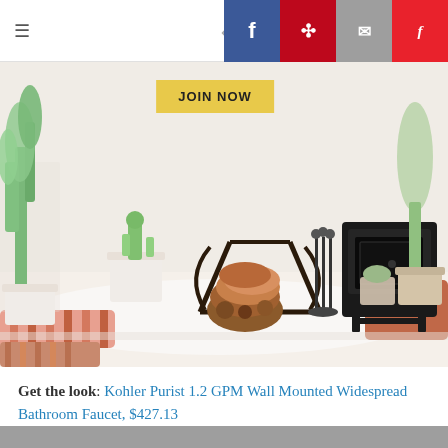Navigation bar with hamburger menu, back arrow, Facebook, Pinterest, Email, Flipboard social share icons
[Figure (photo): Interior room scene with white walls, cacti and plants in white pots, a black cast iron wood stove, a log holder with firewood, colorful striped floor cushions, and a white fluffy rug. A yellow 'JOIN NOW' button overlays the image.]
Get the look: Kohler Purist 1.2 GPM Wall Mounted Widespread Bathroom Faucet, $427.13
5. Combine eras.